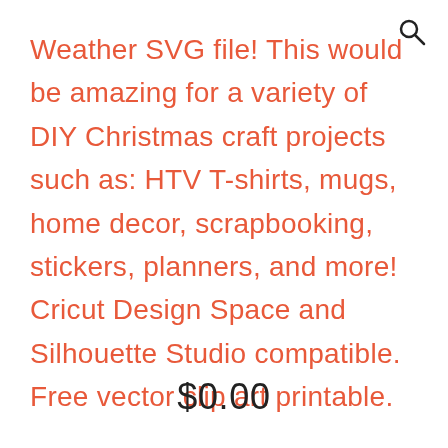[Figure (other): Search icon (magnifying glass) in top right corner]
Weather SVG file! This would be amazing for a variety of DIY Christmas craft projects such as: HTV T-shirts, mugs, home decor, scrapbooking, stickers, planners, and more! Cricut Design Space and Silhouette Studio compatible. Free vector clip art printable.
$0.00